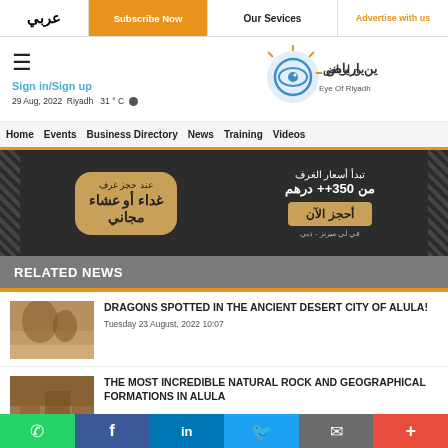عربي | Subscribe Now | Our Services | Advertise with us
[Figure (logo): Eye of Riyadh logo with Arabic text and globe/eye icon]
29 Aug, 2022 Riyadh 31°C
Sign in/Sign up
Home | Events | Business Directory | News | Training | Videos
[Figure (photo): Arabic hotel advertisement banner: free lunch or dinner offer, rooms from 350++ AED, book now in Le Meridien Dubai]
RELATED NEWS
[Figure (photo): Thumbnail image of ancient desert rock formations in AlUla]
DRAGONS SPOTTED IN THE ANCIENT DESERT CITY OF ALULA!
Tuesday 23 August, 2022 10:07
[Figure (photo): Thumbnail image of natural rock formations in AlUla desert landscape]
THE MOST INCREDIBLE NATURAL ROCK AND GEOGRAPHICAL FORMATIONS IN ALULA
WhatsApp | Facebook | LinkedIn | Twitter | Email | More